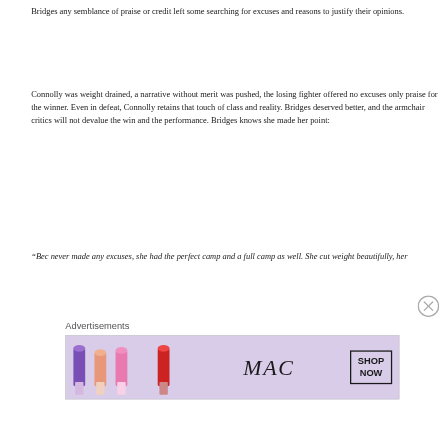Bridges any semblance of praise or credit left some searching for excuses and reasons to justify their opinions.
Connolly was weight drained, a narrative without merit was pushed, the losing fighter offered no excuses only praise for the winner. Even in defeat, Connolly retains that touch of class and reality. Bridges deserved better, and the armchair critics will not devalue the win and the performance. Bridges knows she made her point:
“Bec never made any excuses, she had the perfect camp and a full camp as well. She cut weight beautifully, her
[Figure (advertisement): MAC cosmetics advertisement showing lipsticks in purple, peach, and pink/red shades with MAC logo and SHOP NOW button]